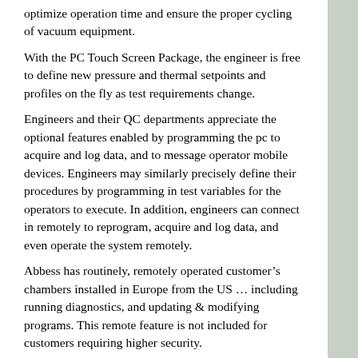optimize operation time and ensure the proper cycling of vacuum equipment.
With the PC Touch Screen Package, the engineer is free to define new pressure and thermal setpoints and profiles on the fly as test requirements change.
Engineers and their QC departments appreciate the optional features enabled by programming the pc to acquire and log data, and to message operator mobile devices. Engineers may similarly precisely define their procedures by programming in test variables for the operators to execute. In addition, engineers can connect in remotely to reprogram, acquire and log data, and even operate the system remotely.
Abbess has routinely, remotely operated customer’s chambers installed in Europe from the US … including running diagnostics, and updating & modifying programs. This remote feature is not included for customers requiring higher security.
“Climb & Dive” profiles are presented here in Torr simulated altitude (feet) for a “Climb & Dive” from sea